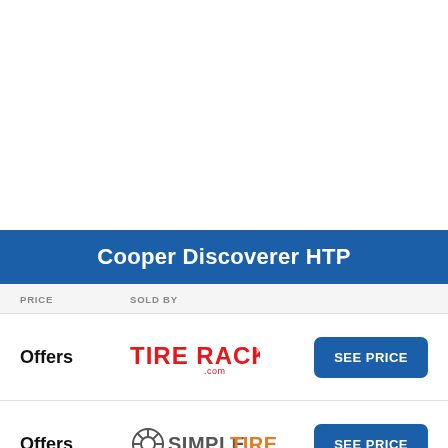Cooper Discoverer HTP
| PRICE | SOLD BY |  |
| --- | --- | --- |
| Offers | Tire Rack | SEE PRICE |
| Offers | SimpleTire | SEE PRICE |